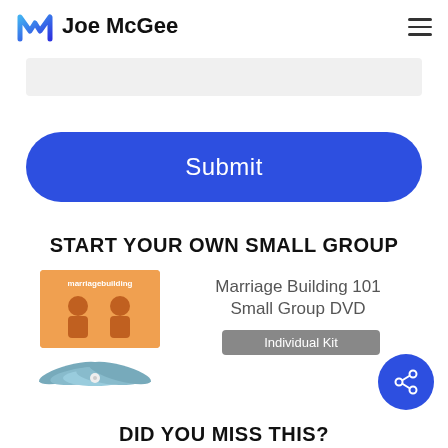Joe McGee
[Figure (other): Gray input field / text area box]
[Figure (other): Blue rounded Submit button]
START YOUR OWN SMALL GROUP
[Figure (photo): Marriage Building 101 Small Group DVD product image showing box set and DVDs]
Marriage Building 101 Small Group DVD
Individual Kit
DID YOU MISS THIS?